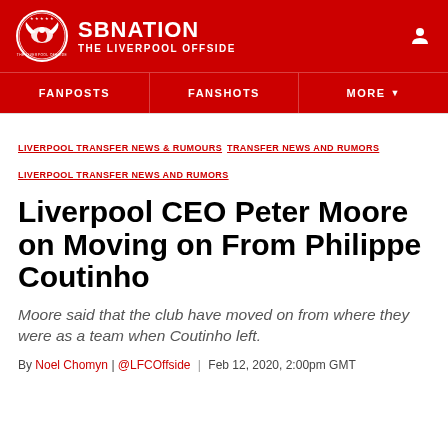SBNATION — THE LIVERPOOL OFFSIDE
FANPOSTS  FANSHOTS  MORE
LIVERPOOL TRANSFER NEWS & RUMOURS  TRANSFER NEWS AND RUMORS  LIVERPOOL TRANSFER NEWS AND RUMORS
Liverpool CEO Peter Moore on Moving on From Philippe Coutinho
Moore said that the club have moved on from where they were as a team when Coutinho left.
By Noel Chomyn | @LFCOffside | Feb 12, 2020, 2:00pm GMT